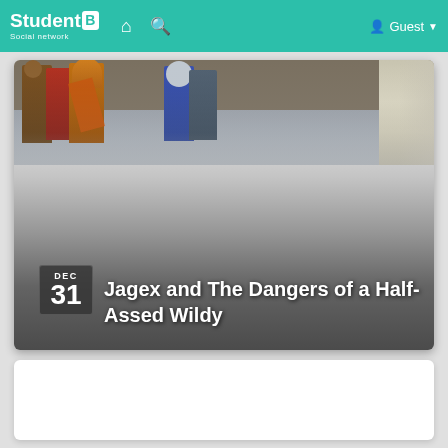StudentB Social network — Guest
[Figure (screenshot): Article card with game screenshot showing armored characters on a tiled floor, with gradient overlay. Date badge showing DEC 31 in bottom left.]
Jagex and The Dangers of a Half-Assed Wildy